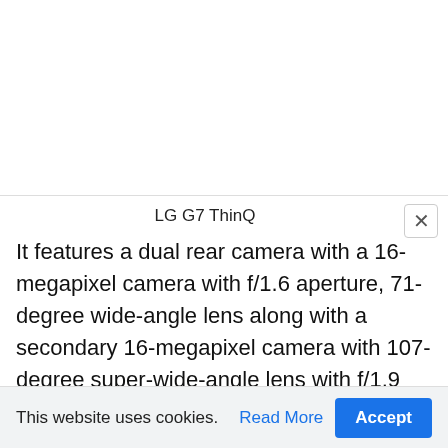LG G7 ThinQ
It features a dual rear camera with a 16-megapixel camera with f/1.6 aperture, 71-degree wide-angle lens along with a secondary 16-megapixel camera with 107-degree super-wide-angle lens with f/1.9 aperture and LED flash. It comes with an 8-megapixel front camera with 80-degree wide-angle lens and f/1.9 aperture. It has a 3000mAh battery with Quick Charge 3.0 and wireless charging. It comes with connectivity options like 4G
This website uses cookies.  Read More  Accept